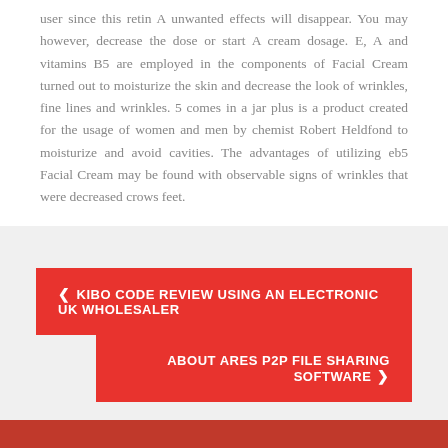user since this retin A unwanted effects will disappear. You may however, decrease the dose or start A cream dosage. E, A and vitamins B5 are employed in the components of Facial Cream turned out to moisturize the skin and decrease the look of wrinkles, fine lines and wrinkles. 5 comes in a jar plus is a product created for the usage of women and men by chemist Robert Heldfond to moisturize and avoid cavities. The advantages of utilizing eb5 Facial Cream may be found with observable signs of wrinkles that were decreased crows feet.
< KIBO CODE REVIEW USING AN ELECTRONIC UK WHOLESALER
ABOUT ARES P2P FILE SHARING SOFTWARE >